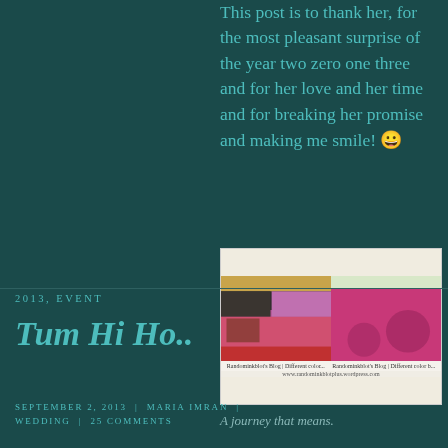This post is to thank her, for the most pleasant surprise of the year two zero one three and for her love and her time and for breaking her promise and making me smile! 😀
[Figure (screenshot): Screenshot of a blog showing two thumbnail images with captions referencing 'Randominkblot's Blog | Different colors' and a URL www.randominkblotplus.wordpress.com]
A journey that means.
2013, EVENT
Tum Hi Ho..
SEPTEMBER 2, 2013 | MARIA IMRAN | WEDDING | 25 COMMENTS